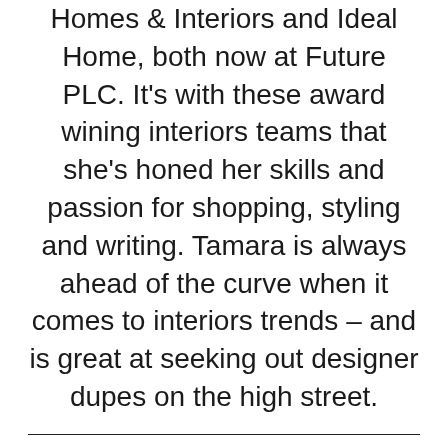Homes & Interiors and Ideal Home, both now at Future PLC. It's with these award wining interiors teams that she's honed her skills and passion for shopping, styling and writing. Tamara is always ahead of the curve when it comes to interiors trends – and is great at seeking out designer dupes on the high street.
LATEST
[Figure (other): Partial card placeholder (light grey rectangle) visible at bottom of page]